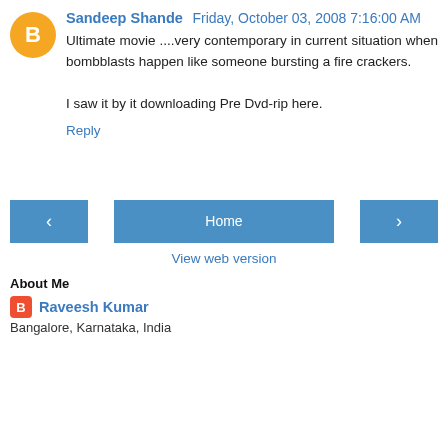Sandeep Shande  Friday, October 03, 2008 7:16:00 AM
Ultimate movie ....very contemporary in current situation when bombblasts happen like someone bursting a fire crackers.

I saw it by it downloading Pre Dvd-rip here.
Reply
< Home >
View web version
About Me
Raveesh Kumar
Bangalore, Karnataka, India